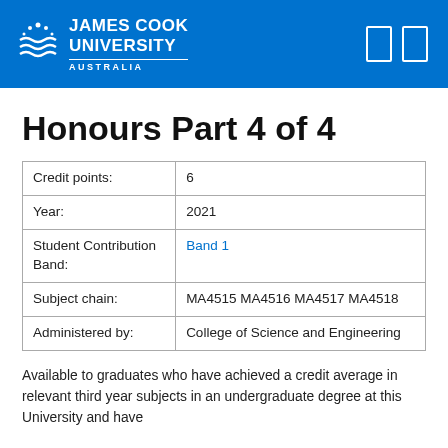JAMES COOK UNIVERSITY AUSTRALIA
Honours Part 4 of 4
| Credit points: | 6 |
| Year: | 2021 |
| Student Contribution Band: | Band 1 |
| Subject chain: | MA4515 MA4516 MA4517 MA4518 |
| Administered by: | College of Science and Engineering |
Available to graduates who have achieved a credit average in relevant third year subjects in an undergraduate degree at this University and have